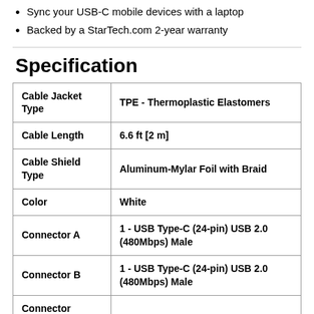Sync your USB-C mobile devices with a laptop
Backed by a StarTech.com 2-year warranty
Specification
| Property | Value |
| --- | --- |
| Cable Jacket Type | TPE - Thermoplastic Elastomers |
| Cable Length | 6.6 ft [2 m] |
| Cable Shield Type | Aluminum-Mylar Foil with Braid |
| Color | White |
| Connector A | 1 - USB Type-C (24-pin) USB 2.0 (480Mbps) Male |
| Connector B | 1 - USB Type-C (24-pin) USB 2.0 (480Mbps) Male |
| Connector |  |